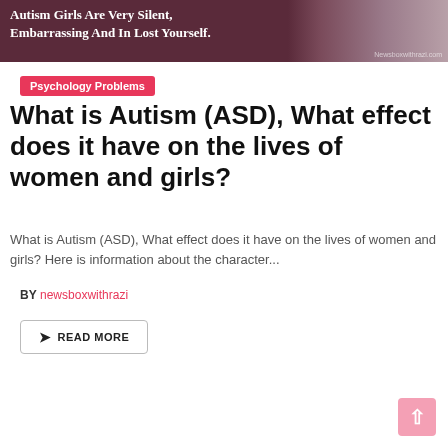[Figure (photo): Banner image with dark maroon/purple background, text 'Autism Girls Are Very Silent, Embarrassing And In Lost Yourself.' on the left and a photo of a woman on the right, with watermark 'Newsboxwithrazi.com']
Psychology Problems
What is Autism (ASD), What effect does it have on the lives of women and girls?
What is Autism (ASD), What effect does it have on the lives of women and girls? Here is information about the character...
BY newsboxwithrazi
READ MORE